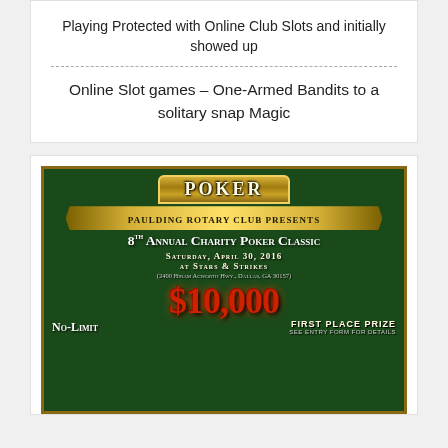Playing Protected with Online Club Slots and initially showed up
Online Slot games – One-Armed Bandits to a solitary snap Magic
[Figure (illustration): Paulding Rotary Club 8th Annual Charity Poker Classic flyer on dark green background. Features POKER banner at top, ribbon with event name, date Saturday April 30 2016 at Stars & Strikes (2400 Hiram Acworth Hwy., Dallas, GA 30157), $10,000 First Place Prize, No-Limit.]